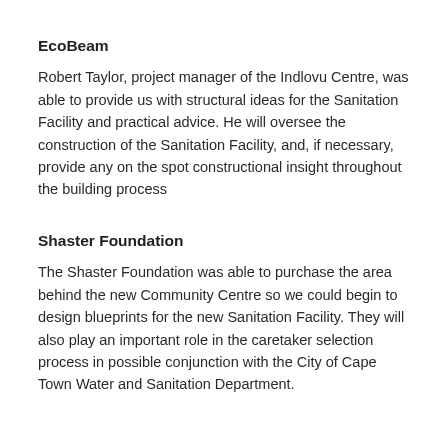EcoBeam
Robert Taylor, project manager of the Indlovu Centre, was able to provide us with structural ideas for the Sanitation Facility and practical advice. He will oversee the construction of the Sanitation Facility, and, if necessary,  provide any on the spot constructional insight throughout the building process
Shaster Foundation
The Shaster Foundation was able to purchase the area behind the new Community Centre so we could begin to design blueprints for the new Sanitation Facility. They will also play an important role in the caretaker selection process in possible conjunction with the City of Cape Town Water and Sanitation Department.